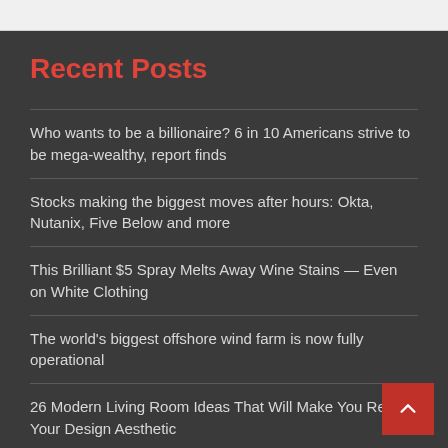Recent Posts
Who wants to be a billionaire? 6 in 10 Americans strive to be mega-wealthy, report finds
Stocks making the biggest moves after hours: Okta, Nutanix, Five Below and more
This Brilliant $5 Spray Melts Away Wine Stains — Even on White Clothing
The world's biggest offshore wind farm is now fully operational
26 Modern Living Room Ideas That Will Make You Rethink Your Design Aesthetic